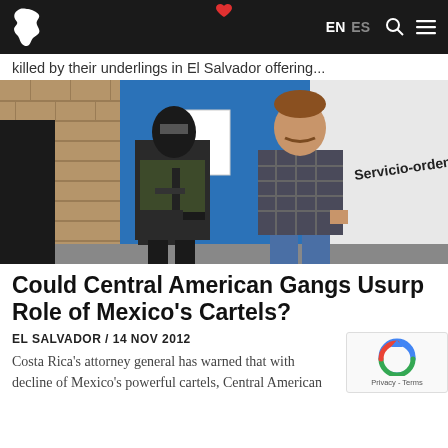EN ES [search] [menu]
killed by their underlings in El Salvador offering...
[Figure (photo): A masked armed officer in tactical gear stands next to a man in a plaid shirt in front of a blue door and a vehicle with text 'Servicio-orden']
Could Central American Gangs Usurp Role of Mexico's Cartels?
EL SALVADOR / 14 NOV 2012
Costa Rica's attorney general has warned that with decline of Mexico's powerful cartels, Central American